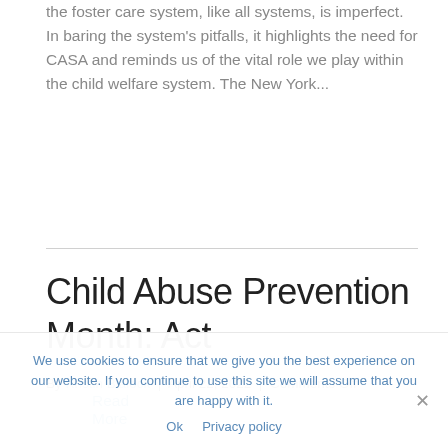the foster care system, like all systems, is imperfect. In baring the system's pitfalls, it highlights the need for CASA and reminds us of the vital role we play within the child welfare system. The New York...
Read More
Child Abuse Prevention Month: Act
By Kristin Blalock | April 22, 2022 | Comments Off
We use cookies to ensure that we give you the best experience on our website. If you continue to use this site we will assume that you are happy with it.
Ok   Privacy policy